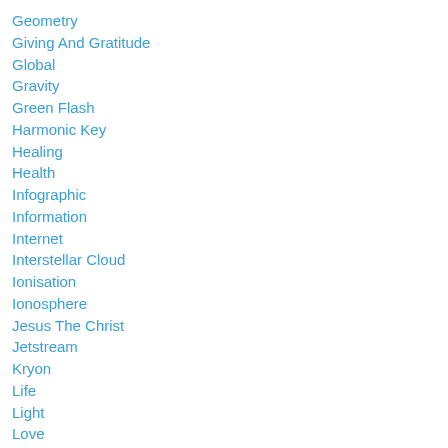Geometry
Giving And Gratitude
Global
Gravity
Green Flash
Harmonic Key
Healing
Health
Infographic
Information
Internet
Interstellar Cloud
Ionisation
Ionosphere
Jesus The Christ
Jetstream
Kryon
Life
Light
Love